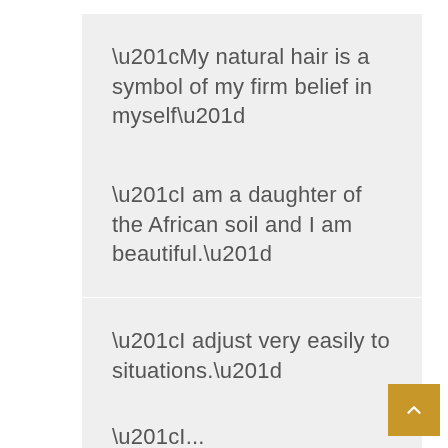“My natural hair is a symbol of my firm belief in myself”
“I am a daughter of the African soil and I am beautiful.”
“I adjust very easily to situations.”
“I...